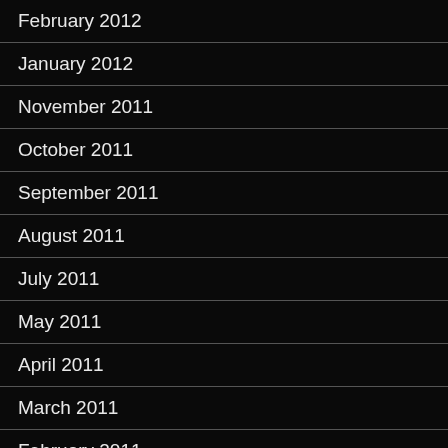February 2012
January 2012
November 2011
October 2011
September 2011
August 2011
July 2011
May 2011
April 2011
March 2011
February 2011
January 2011
December 2010